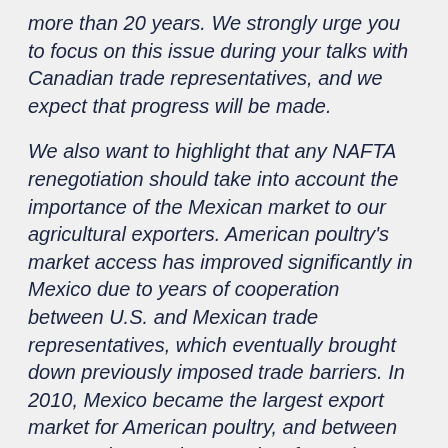more than 20 years. We strongly urge you to focus on this issue during your talks with Canadian trade representatives, and we expect that progress will be made.
We also want to highlight that any NAFTA renegotiation should take into account the importance of the Mexican market to our agricultural exporters. American poultry's market access has improved significantly in Mexico due to years of cooperation between U.S. and Mexican trade representatives, which eventually brought down previously imposed trade barriers. In 2010, Mexico became the largest export market for American poultry, and between 2010 and 2016, the quantity of American poultry exports to Mexico increased by over 40%. Mexico is currently our largest